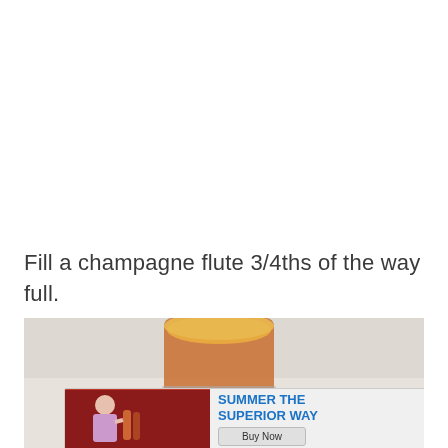Fill a champagne flute 3/4ths of the way full.
[Figure (photo): Close-up photo of a mason jar filled with an orange-colored liquid (juice or cocktail) on a light marble surface, with another orange fruit visible in the background.]
[Figure (infographic): Advertisement banner: SUMMER THE SUPERIOR WAY with Buy Now button, showing a person with bottles on the left side.]